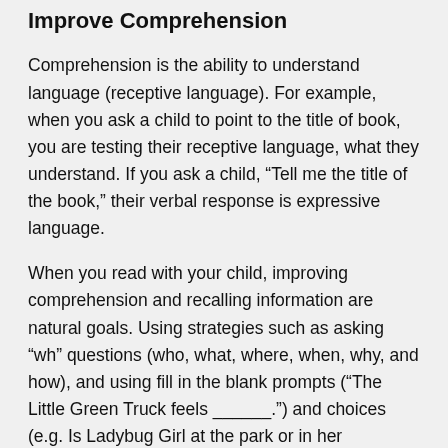Improve Comprehension
Comprehension is the ability to understand language (receptive language). For example, when you ask a child to point to the title of book, you are testing their receptive language, what they understand. If you ask a child, “Tell me the title of the book,” their verbal response is expressive language.
When you read with your child, improving comprehension and recalling information are natural goals. Using strategies such as asking “wh” questions (who, what, where, when, why, and how), and using fill in the blank prompts (“The Little Green Truck feels ______.”) and choices (e.g. Is Ladybug Girl at the park or in her backyard?”) can help improve comprehension during book reading. Tip: When asking “wh” questions, start by asking simple questions and then progress to more complex questions. This is called a scaffolding technique. For